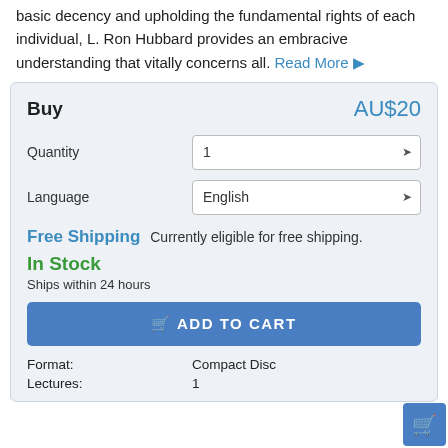basic decency and upholding the fundamental rights of each individual, L. Ron Hubbard provides an embracive understanding that vitally concerns all. Read More ▶
| Field | Value |
| --- | --- |
| Buy | AU$20 |
| Quantity | 1 |
| Language | English |
| Free Shipping | Currently eligible for free shipping. |
| In Stock | Ships within 24 hours |
| ADD TO CART |  |
| Format: | Compact Disc |
| Lectures: | 1 |